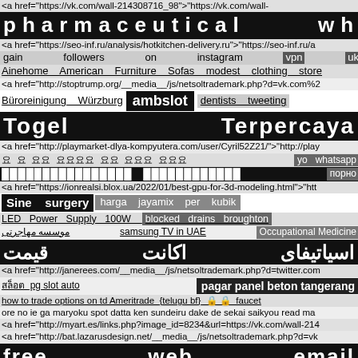<a href="https://vk.com/wall-214308716_98">"https://vk.com/wall-
pharmaceutical wholesalers distributors
<a href="https://seo-inf.ru/analysis/hotkitchen-delivery.ru">"https://seo-inf.ru/a
gain followers on instagram vpn uk
Ainehome American Furniture Sofas modest clothing store
<a href="http://stoptrump.org/__media__/js/netsoltrademark.php?d=vk.com%2
Büroreinigung Würzburg   ambslot   dentists tweeting
Togel   Terpercaya
<a href="http://playmarket-dlya-kompyutera.com/user/Cyril52Z21/">"http://play
요 요 요요 요요요요 요요 요요요 요요요  yo  whatsapp
████████████████   █████████████  порно
<a href="https://ionrealsi.blox.ua/2022/01/best-gpu-for-3d-modeling.html">"htt
Sine surgery   harga jayamix per kubik
LED Power Supply 100W  blocked drains broughton
موسسه مهاجرتی  samsung TV in UAE  Occupational Medicine
اسیاتیفای  اکانت  قیمت
<a href="http://janerees.com/__media__/js/netsoltrademark.php?d=twitter.com
สล็อต pg slot auto   pagar panel beton tangerang
how to trade options on td Ameritrade  {telugu bf}  🔒 🔒  faucet
ore no ie ga maryoku spot datta ken sundeiru dake de sekai saikyou read ma
<a href="http://myart.es/links.php?image_id=8234&url=https://vk.com/wall-214
<a href="http://bat.lazarusdesign.net/__media__/js/netsoltrademark.php?d=vk
free   web   email
place   to   stay   greece